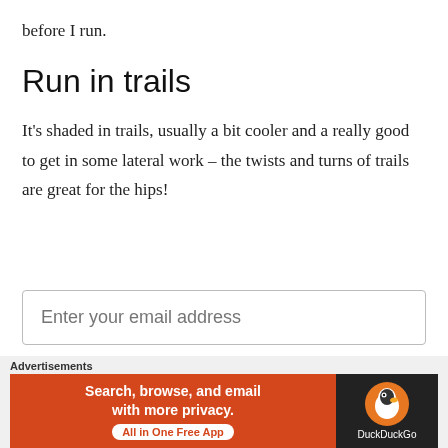before I run.
Run in trails
It's shaded in trails, usually a bit cooler and a really good to get in some lateral work – the twists and turns of trails are great for the hips!
Enter your email address
[Figure (other): Black submit button rectangle]
[Figure (other): Close/X circle button]
Advertisements
[Figure (other): DuckDuckGo advertisement banner: orange section with text 'Search, browse, and email with more privacy. All in One Free App' and dark section with DuckDuckGo logo]